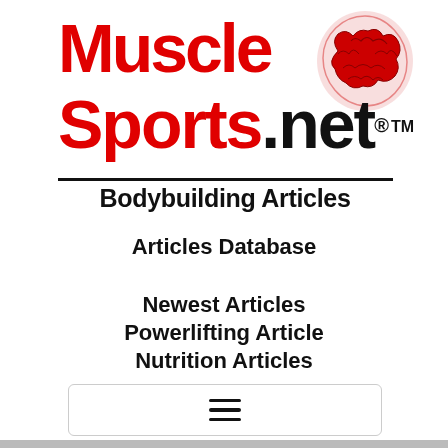[Figure (logo): MuscleSports.net logo with red 'Muscle Sports' text, black '.net' text, TM symbol, red illustrated muscular brain graphic, and thick black horizontal rule with 'Bodybuilding Articles' text below]
Articles Database
Newest Articles
Powerlifting Article
Nutrition Articles
[Figure (other): Hamburger menu icon (three horizontal lines) inside a rounded rectangle border]